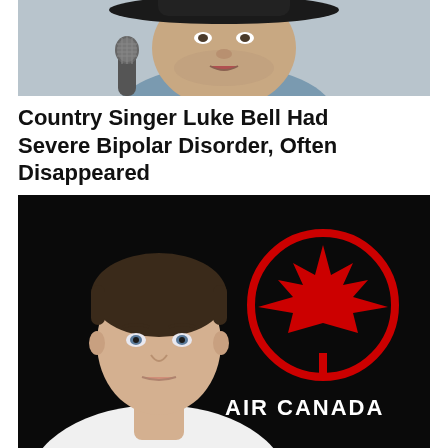[Figure (photo): Photo of country singer Luke Bell wearing a black cowboy hat, speaking into a microphone, with blurred background]
Country Singer Luke Bell Had Severe Bipolar Disorder, Often Disappeared
[Figure (photo): Photo of a man in a white shirt against a black background with the Air Canada logo (red maple leaf in a red circle) and the text AIR CANADA in white]